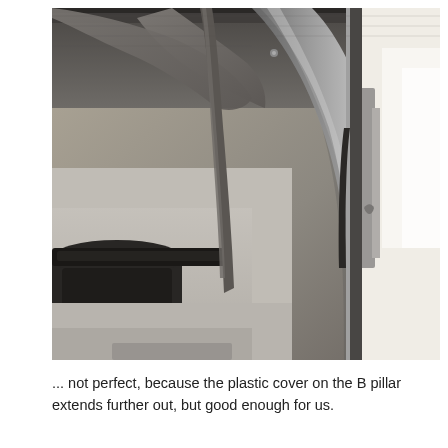[Figure (photo): Interior photo of a car showing the B pillar area with fabric headliner, plastic trim cover on the B pillar, car seat headrest visible on the left, and through the window exterior can be seen including another vehicle door. The image is taken from inside the car looking toward the B pillar and side window.]
... not perfect, because the plastic cover on the B pillar extends further out, but good enough for us.